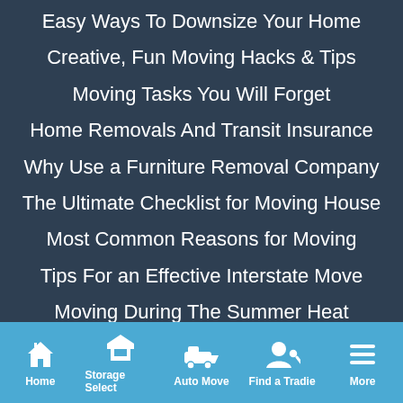Easy Ways To Downsize Your Home
Creative, Fun Moving Hacks & Tips
Moving Tasks You Will Forget
Home Removals And Transit Insurance
Why Use a Furniture Removal Company
The Ultimate Checklist for Moving House
Most Common Reasons for Moving
Tips For an Effective Interstate Move
Moving During The Summer Heat
Childproofing Your Move
How to Move house with Kids...
Home | Storage Select | Auto Move | Find a Tradie | More